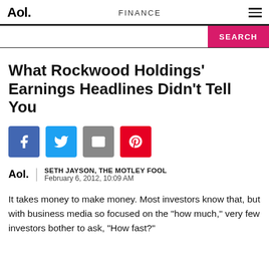Aol. | FINANCE | ≡
What Rockwood Holdings' Earnings Headlines Didn't Tell You
SETH JAYSON, THE MOTLEY FOOL
February 6, 2012, 10:09 AM
It takes money to make money. Most investors know that, but with business media so focused on the "how much," very few investors bother to ask, "How fast?"